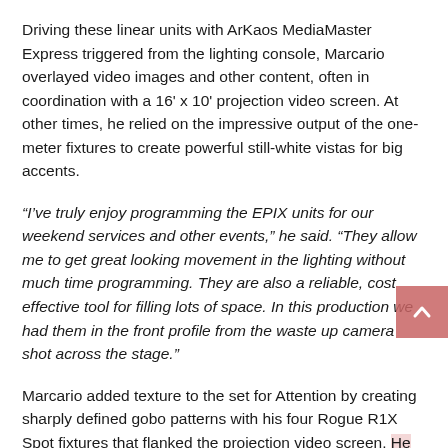Driving these linear units with ArKaos MediaMaster Express triggered from the lighting console, Marcario overlayed video images and other content, often in coordination with a 16' x 10' projection video screen. At other times, he relied on the impressive output of the one-meter fixtures to create powerful still-white vistas for big accents.
“I’ve truly enjoy programming the EPIX units for our weekend services and other events,” he said. “They allow me to get great looking movement in the lighting without much time programming. They are also a reliable, cost effective tool for filling lots of space. In this production we had them in the front profile from the waste up camera shot across the stage.”
Marcario added texture to the set for Attention by creating sharply defined gobo patterns with his four Rogue R1X Spot fixtures that flanked the projection video screen. He also positioned three Rogue R1 Wash either side of the screen, using them for their narrow beam angle and quick movement, as well as intense moments of bright flashes.